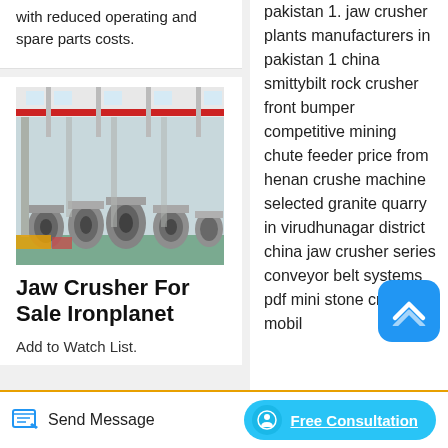with reduced operating and spare parts costs.
[Figure (photo): Interior of an industrial manufacturing or crushing plant facility with machinery and equipment]
Jaw Crusher For Sale Ironplanet
Add to Watch List.
pakistan 1. jaw crusher plants manufacturers in pakistan 1 china smittybilt rock crusher front bumper competitive mining chute feeder price from henan crusher machine selected granite quarry in virudhunagar district china jaw crusher series conveyor belt systems pdf mini stone crusher mobil
Send Message   Free Consultation